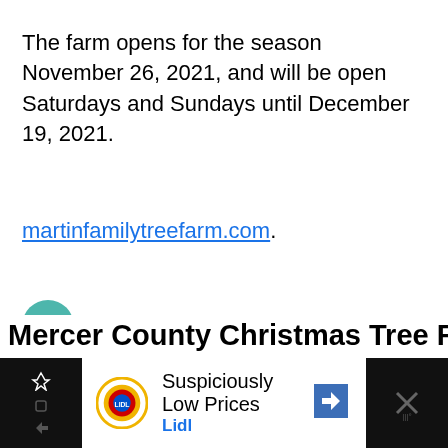The farm opens for the season November 26, 2021, and will be open Saturdays and Sundays until December 19, 2021.
martinfamilytreefarm.com.
[Figure (other): Teal circular button with a white heart icon (like/favorite button)]
[Figure (other): Light gray circular button with a share/forward icon]
WHAT'S NEXT →
Elizabeth 4th Ward...
ey Fa
Go To So...
Mercer County Christmas Tree Farms
[Figure (other): Lidl advertisement banner: 'Suspiciously Low Prices / Lidl' with Lidl logo and navigation arrow icon]